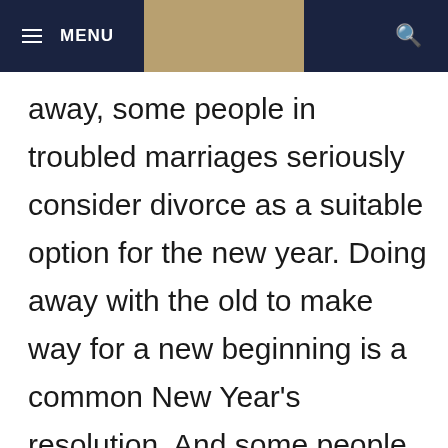MENU [search icon]
away, some people in troubled marriages seriously consider divorce as a suitable option for the new year. Doing away with the old to make way for a new beginning is a common New Year's resolution. And some people apply this aphorism to their